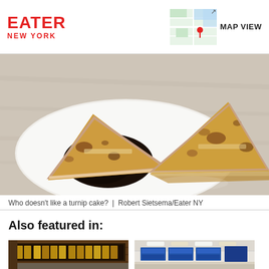EATER NEW YORK | MAP VIEW
[Figure (photo): A toasted grilled sandwich cut into triangles on a white plate with dark dipping sauce, served on a textured tablecloth]
Who doesn't like a turnip cake?  |  Robert Sietsema/Eater NY
Also featured in:
[Figure (photo): Exterior of an Asian restaurant with Korean/Chinese signage lit up at night]
[Figure (photo): Interior of a fast food restaurant with menu boards on the ceiling]